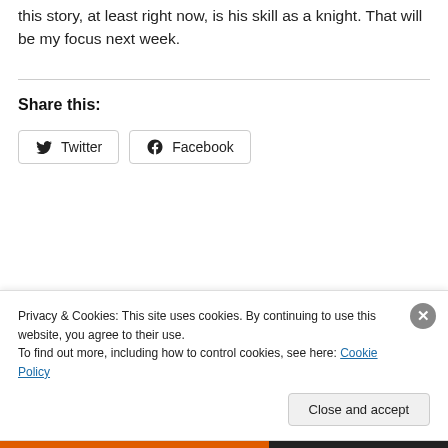this story, at least right now, is his skill as a knight. That will be my focus next week.
Share this:
Twitter  Facebook
Privacy & Cookies: This site uses cookies. By continuing to use this website, you agree to their use.
To find out more, including how to control cookies, see here: Cookie Policy
Close and accept